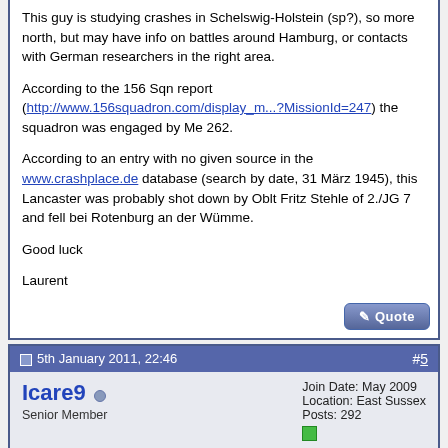This guy is studying crashes in Schelswig-Holstein (sp?), so more north, but may have info on battles around Hamburg, or contacts with German researchers in the right area.
According to the 156 Sqn report (http://www.156squadron.com/display_m...?MissionId=247) the squadron was engaged by Me 262.
According to an entry with no given source in the www.crashplace.de database (search by date, 31 März 1945), this Lancaster was probably shot down by Oblt Fritz Stehle of 2./JG 7 and fell bei Rotenburg an der Wümme.
Good luck
Laurent
5th January 2011, 22:46  #5
Icare9  Senior Member  Join Date: May 2009  Location: East Sussex  Posts: 292
Re: 156 Squadron Lancaster crash
Merci beaucoup, Laurent, and that's what I would have suggested, a daylight operation, so other aircraft, especially those nearby, taking off at around the same time, may well have experienced the same problem.